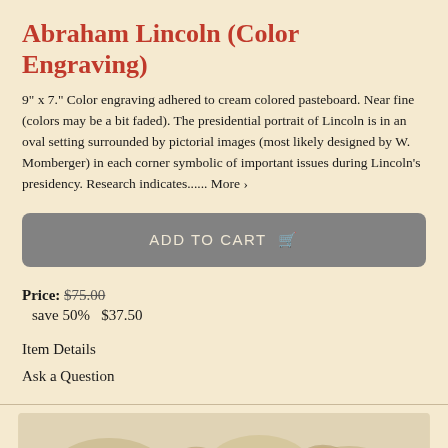Abraham Lincoln (Color Engraving)
9" x 7." Color engraving adhered to cream colored pasteboard. Near fine (colors may be a bit faded). The presidential portrait of Lincoln is in an oval setting surrounded by pictorial images (most likely designed by W. Momberger) in each corner symbolic of important issues during Lincoln's presidency. Research indicates...... More ›
ADD TO CART
Price: $75.00
save 50%   $37.50
Item Details
Ask a Question
[Figure (photo): Partial view of a color engraving, showing decorative floral and botanical imagery at the bottom of the page.]